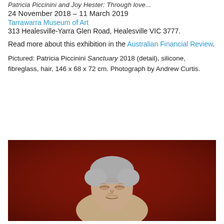Patricia Piccinini and Joy Hester: Through love...
24 November 2018 – 11 March 2019
Tarrawarra Museum of Art
313 Healesville-Yarra Glen Road, Healesville VIC 3777.
Read more about this exhibition in the Australian Financial Review.
Pictured: Patricia Piccinini Sanctuary 2018 (detail), silicone, fibreglass, hair, 146 x 68 x 72 cm. Photograph by Andrew Curtis.
[Figure (photo): Photograph of Patricia Piccinini's Sanctuary 2018 sculpture (detail) — a hyper-realistic humanoid figure with wrinkled, aged skin and grey hair, against a deep red/brown background.]